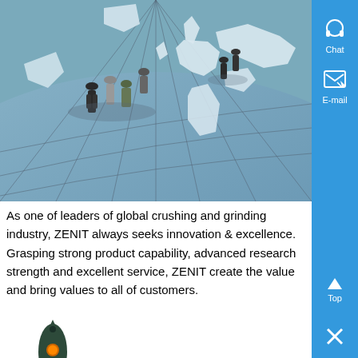[Figure (photo): Aerial view of business people walking on a world map floor, blue tones, showing Europe and surrounding continents]
As one of leaders of global crushing and grinding industry, ZENIT always seeks innovation & excellence. Grasping strong product capability, advanced research strength and excellent service, ZENIT create the value and bring values to all of customers.
[Figure (illustration): Cartoon rocket ship illustration, dark green and black body with orange and yellow flame, small circular window porthole]